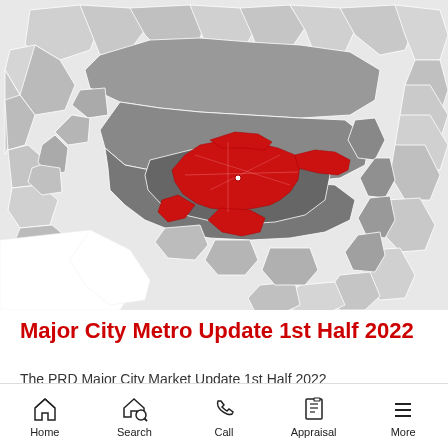[Figure (map): Metropolitan area map showing suburbs/districts in shades of grey, with a central red-highlighted area representing Brisbane city metro region. The map shows the urban extent with darker grey indicating inner suburbs and lighter grey for outer suburbs. A white area in the lower-left represents water/coastline.]
Major City Metro Update 1st Half 2022
The PRD Major City Market Update 1st Half 2022 reports are available for Brisbane, Sydney,
Home  Search  Call  Appraisal  More